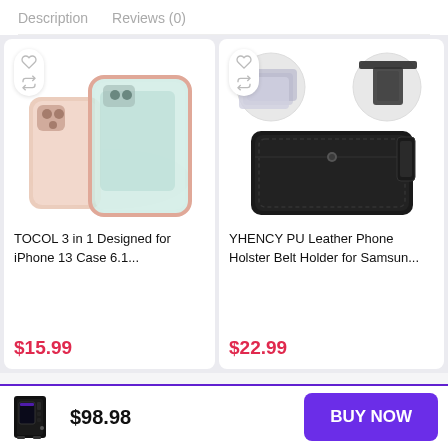Description   Reviews (0)
[Figure (photo): TOCOL 3 in 1 iPhone 13 case - rose gold clear protective case shown exploded/layered]
TOCOL 3 in 1 Designed for iPhone 13 Case 6.1...
$15.99
[Figure (photo): YHENCY PU Leather Phone Holster Belt Holder - black leather pouch with belt clip, small inset images showing card slots and clip detail]
YHENCY PU Leather Phone Holster Belt Holder for Samsun...
$22.99
[Figure (photo): Small product image of a black PC gaming tower case]
$98.98
BUY NOW